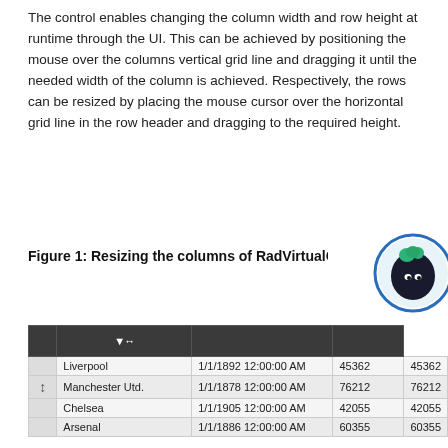The control enables changing the column width and row height at runtime through the UI. This can be achieved by positioning the mouse over the columns vertical grid line and dragging it until the needed width of the column is achieved. Respectively, the rows can be resized by placing the mouse cursor over the horizontal grid line in the row header and dragging to the required height.
Figure 1: Resizing the columns of RadVirtualGr…
[Figure (illustration): Ninja mascot character — round avatar with blue circular border, wearing dark hood, green hair visible]
|  | ▼↔ |  |  |
| --- | --- | --- | --- |
|  | Liverpool | 1/1/1892 12:00:00 AM | 45362 | 45362 |
| ↕ | Manchester Utd. | 1/1/1878 12:00:00 AM | 76212 | 76212 |
|  | Chelsea | 1/1/1905 12:00:00 AM | 42055 | 42055 |
|  | Arsenal | 1/1/1886 12:00:00 AM | 60355 | 60355 |